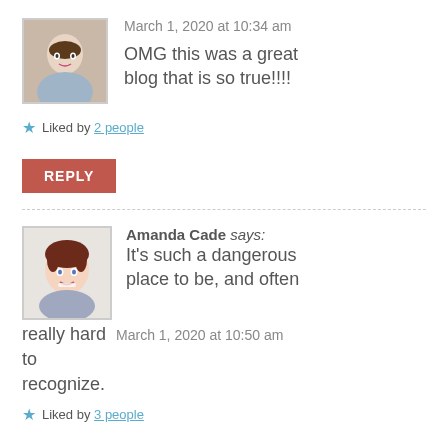March 1, 2020 at 10:34 am
OMG this was a great blog that is so true!!!!
Liked by 2 people
REPLY
Amanda Cade says:
It's such a dangerous place to be, and often really hard to recognize.
March 1, 2020 at 10:50 am
Liked by 3 people